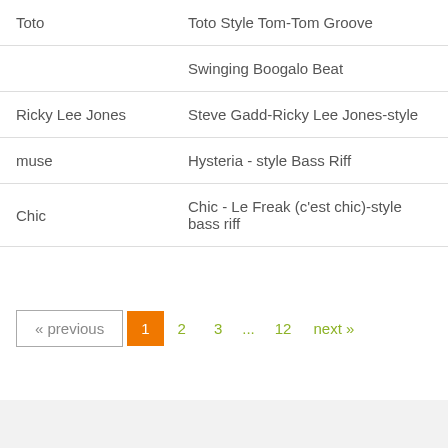| Artist | Style/Groove Name |
| --- | --- |
| Toto | Toto Style Tom-Tom Groove |
|  | Swinging Boogalo Beat |
| Ricky Lee Jones | Steve Gadd-Ricky Lee Jones-style |
| muse | Hysteria - style Bass Riff |
| Chic | Chic - Le Freak (c'est chic)-style bass riff |
« previous  1  2  3  ...  12  next »